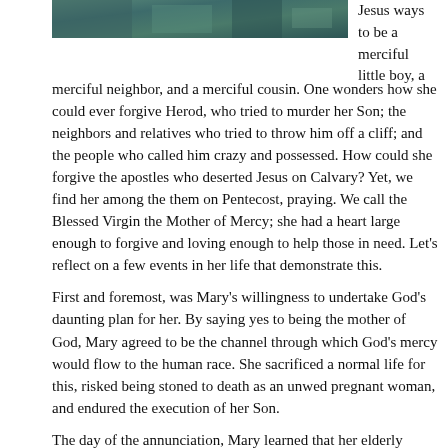[Figure (photo): A partial photo visible at the top of the page, appears to be an outdoor/nature scene with teal/green tones.]
Jesus ways to be a merciful little boy, a merciful neighbor, and a merciful cousin. One wonders how she could ever forgive Herod, who tried to murder her Son; the neighbors and relatives who tried to throw him off a cliff; and the people who called him crazy and possessed. How could she forgive the apostles who deserted Jesus on Calvary? Yet, we find her among the them on Pentecost, praying. We call the Blessed Virgin the Mother of Mercy; she had a heart large enough to forgive and loving enough to help those in need. Let's reflect on a few events in her life that demonstrate this.
First and foremost, was Mary's willingness to undertake God's daunting plan for her. By saying yes to being the mother of God, Mary agreed to be the channel through which God's mercy would flow to the human race. She sacrificed a normal life for this, risked being stoned to death as an unwed pregnant woman, and endured the execution of her Son.
The day of the annunciation, Mary learned that her elderly relative Elizabeth was also miraculously pregnant. Mary had mercy on her and went in haste to help her out. This act of mercy entailed a 90-some-mile